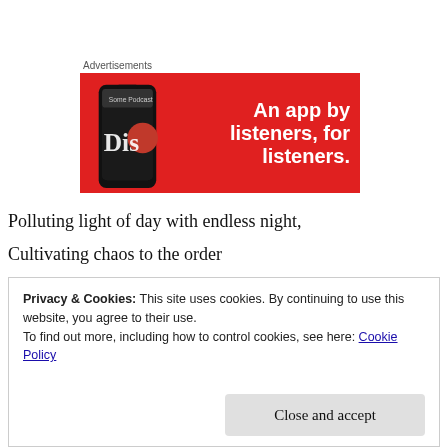[Figure (other): Advertisement banner with red background showing a smartphone with 'Diso' app and text 'An app by listeners, for listeners.']
Polluting light of day with endless night,
Cultivating chaos to the order
Privacy & Cookies: This site uses cookies. By continuing to use this website, you agree to their use.
To find out more, including how to control cookies, see here: Cookie Policy
Close and accept